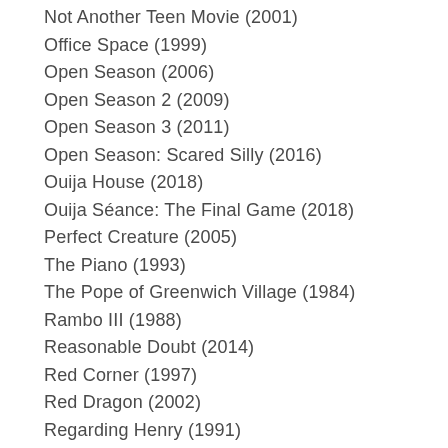Not Another Teen Movie (2001)
Office Space (1999)
Open Season (2006)
Open Season 2 (2009)
Open Season 3 (2011)
Open Season: Scared Silly (2016)
Ouija House (2018)
Ouija Séance: The Final Game (2018)
Perfect Creature (2005)
The Piano (1993)
The Pope of Greenwich Village (1984)
Rambo III (1988)
Reasonable Doubt (2014)
Red Corner (1997)
Red Dragon (2002)
Regarding Henry (1991)
Return of the Living Dead 3 (1993)
Return of the Living Dead 4: Necropolis (2006)
Return of the Living Dead 5: Rave to the Grave (2007)
River's Edge (1987)